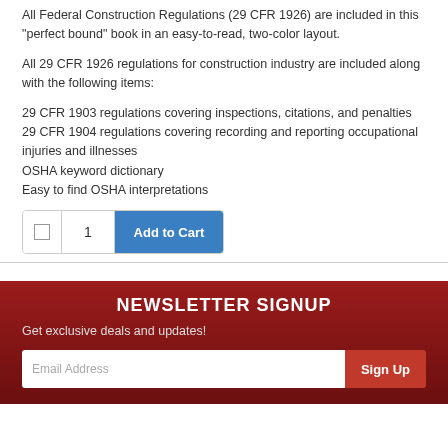All Federal Construction Regulations (29 CFR 1926) are included in this “perfect bound” book in an easy-to-read, two-color layout.
All 29 CFR 1926 regulations for construction industry are included along with the following items:
29 CFR 1903 regulations covering inspections, citations, and penalties
29 CFR 1904 regulations covering recording and reporting occupational injuries and illnesses
OSHA keyword dictionary
Easy to find OSHA interpretations
Add to Cart (quantity: 1)
NEWSLETTER SIGNUP
Get exclusive deals and updates!
Email Address  Sign Up